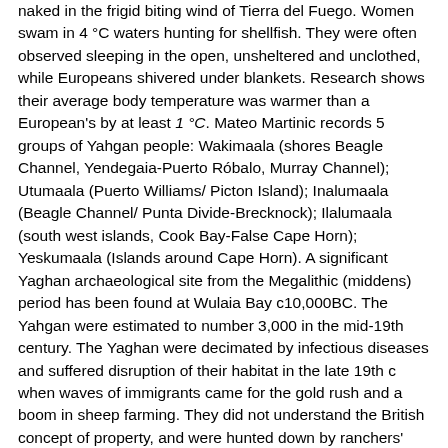naked in the frigid biting wind of Tierra del Fuego. Women swam in 4 °C waters hunting for shellfish. They were often observed sleeping in the open, unsheltered and unclothed, while Europeans shivered under blankets. Research shows their average body temperature was warmer than a European's by at least 1 °C. Mateo Martinic records 5 groups of Yahgan people: Wakimaala (shores Beagle Channel, Yendegaia-Puerto Róbalo, Murray Channel); Utumaala (Puerto Williams/ Picton Island); Inalumaala (Beagle Channel/ Punta Divide-Brecknock); Ilalumaala (south west islands, Cook Bay-False Cape Horn); Yeskumaala (Islands around Cape Horn). A significant Yaghan archaeological site from the Megalithic (middens) period has been found at Wulaia Bay c10,000BC. The Yahgan were estimated to number 3,000 in the mid-19th century. The Yaghan were decimated by infectious diseases and suffered disruption of their habitat in the late 19th c when waves of immigrants came for the gold rush and a boom in sheep farming. They did not understand the British concept of property, and were hunted down by ranchers' militias for the offense of "poaching" sheep in their former territories. In the 1920s some Yahgan were resettled on Keppel Island in the Falklands in an attempt to preserve the tribe, but they all died. The second-to-last full-blooded Yaghan, Emelinda Acuña, died in 2005